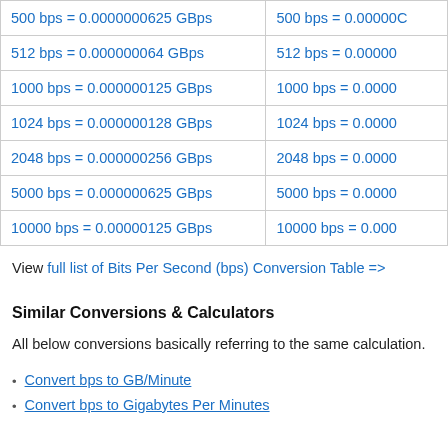| Column 1 | Column 2 |
| --- | --- |
| 500 bps = 0.0000000625 GBps | 500 bps = 0.00000... |
| 512 bps = 0.000000064 GBps | 512 bps = 0.00000... |
| 1000 bps = 0.000000125 GBps | 1000 bps = 0.0000... |
| 1024 bps = 0.000000128 GBps | 1024 bps = 0.0000... |
| 2048 bps = 0.000000256 GBps | 2048 bps = 0.0000... |
| 5000 bps = 0.000000625 GBps | 5000 bps = 0.0000... |
| 10000 bps = 0.00000125 GBps | 10000 bps = 0.000... |
View full list of Bits Per Second (bps) Conversion Table =>
Similar Conversions & Calculators
All below conversions basically referring to the same calculation.
Convert bps to GB/Minute
Convert bps to Gigabytes Per Minutes